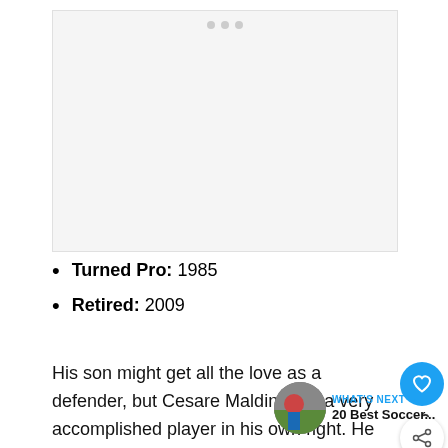[Figure (other): Advertisement placeholder box with three dots at the top center]
Turned Pro: 1985
Retired: 2009
His son might get all the love as a defender, but Cesare Maldini was a very accomplished player in his own right. He played for Milan during the 1960s, and suited up 14 times for Italy on the national